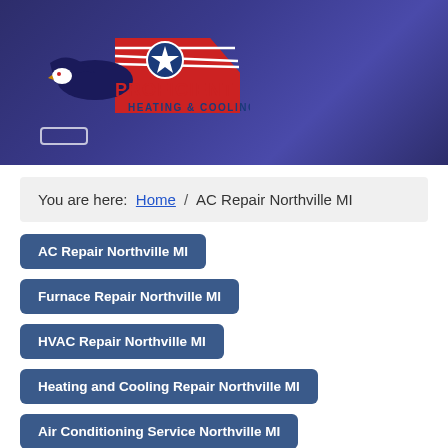[Figure (logo): Proficient Heating & Cooling logo with eagle and house graphic]
You are here: Home / AC Repair Northville MI
AC Repair Northville MI
Furnace Repair Northville MI
HVAC Repair Northville MI
Heating and Cooling Repair Northville MI
Air Conditioning Service Northville MI